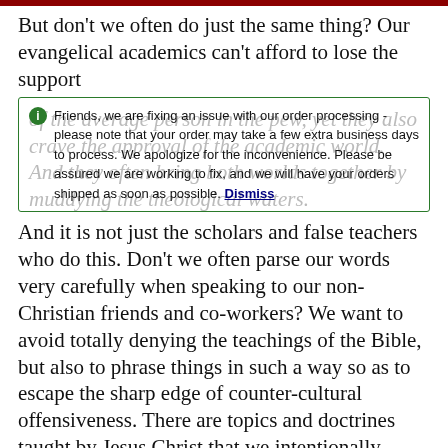But don't we often do just the same thing? Our evangelical academics can't afford to lose the support
Friends, we are fixing an issue with our order processing - please note that your order may take a few extra business days to process. We apologize for the inconvenience. Please be assured we are working to fix, and we will have your orders shipped as soon as possible. Dismiss
And it is not just the scholars and false teachers who do this. Don't we often parse our words very carefully when speaking to our non-Christian friends and co-workers? We want to avoid totally denying the teachings of the Bible, but also to phrase things in such a way so as to escape the sharp edge of counter-cultural offensiveness. There are topics and doctrines taught by Jesus Christ that we intentionally avoid by muddying the waters and changing the subject. We actively avoid clarity.
It is a comfort to remember that the Bible was